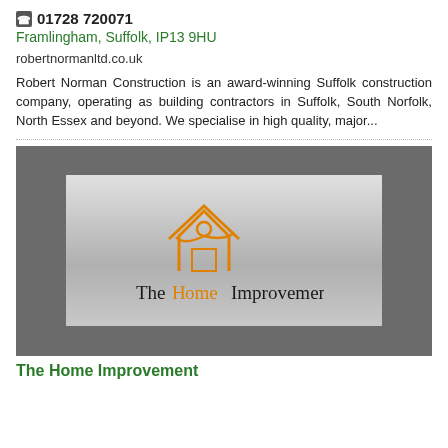📞 01728 720071
Framlingham, Suffolk, IP13 9HU
robertnormanltd.co.uk
Robert Norman Construction is an award-winning Suffolk construction company, operating as building contractors in Suffolk, South Norfolk, North Essex and beyond. We specialise in high quality, major...
[Figure (logo): The Home Improvement company logo on a grey gradient background with orange house/figure graphic and serif text]
The Home Improvement